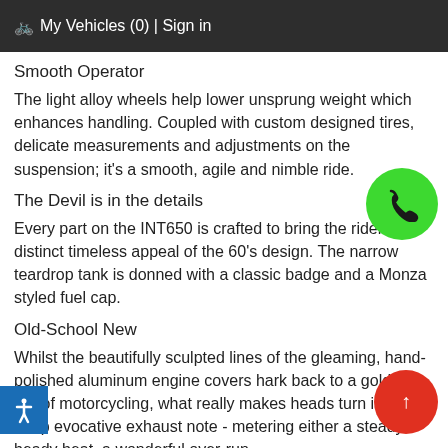🚲 My Vehicles (0) | Sign in
Smooth Operator
The light alloy wheels help lower unsprung weight which enhances handling. Coupled with custom designed tires, delicate measurements and adjustments on the suspension; it's a smooth, agile and nimble ride.
The Devil is in the details
Every part on the INT650 is crafted to bring the rider a distinct timeless appeal of the 60's design. The narrow teardrop tank is donned with a classic badge and a Monza styled fuel cap.
Old-School New
Whilst the beautifully sculpted lines of the gleaming, hand-polished aluminum engine covers hark back to a golden era of motorcycling, what really makes heads turn is the deep evocative exhaust note - metering either a steady heady beat, a wonderful over-run